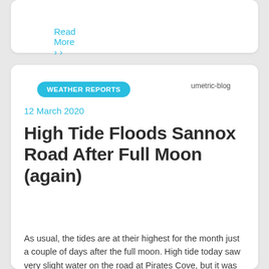Read More >
WEATHER REPORTS
umetric-blog
12 March 2020
High Tide Floods Sannox Road After Full Moon (again)
As usual, the tides are at their highest for the month just a couple of days after the full moon. High tide today saw very slight water on the road at Pirates Cove, but it was more